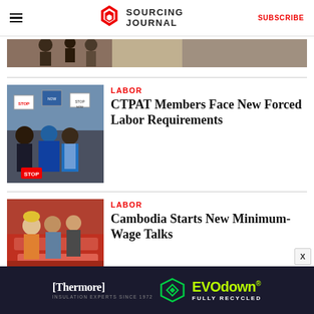SOURCING JOURNAL | SUBSCRIBE
[Figure (photo): Partial view of a clothing store or protest scene, cropped at top]
[Figure (photo): Protest crowd with people holding signs, one person in blue vest]
LABOR
CTPAT Members Face New Forced Labor Requirements
[Figure (photo): Workers examining red garments/fabric in a factory setting]
LABOR
Cambodia Starts New Minimum-Wage Talks
[Figure (infographic): Thermore and EVO down advertisement banner — Insulation Experts Since 1972, Fully Recycled]